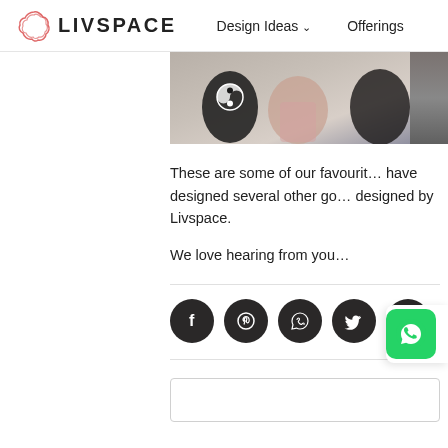LIVSPACE | Design Ideas ˅ | Offerings
[Figure (photo): Cropped photo of people sitting on a sofa, partial view showing torsos and laps, yin-yang t-shirt visible]
These are some of our favourit... have designed several other go... designed by Livspace.
We love hearing from you...
[Figure (other): Row of 5 social share icon buttons: Facebook, Pinterest, WhatsApp, Twitter, Link/chain]
[Figure (other): Empty comment/text input box]